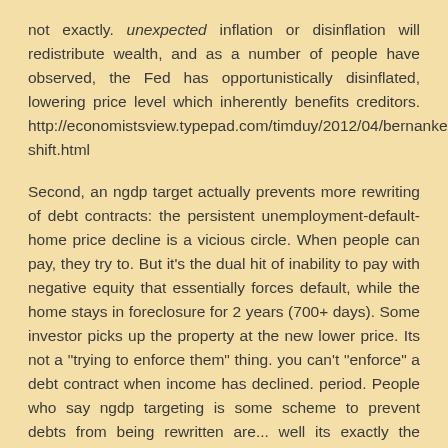not exactly. unexpected inflation or disinflation will redistribute wealth, and as a number of people have observed, the Fed has opportunistically disinflated, lowering price level which inherently benefits creditors. http://economistsview.typepad.com/timduy/2012/04/bernankes-shift.html
Second, an ngdp target actually prevents more rewriting of debt contracts: the persistent unemployment-default-home price decline is a vicious circle. When people can pay, they try to. But it's the dual hit of inability to pay with negative equity that essentially forces default, while the home stays in foreclosure for 2 years (700+ days). Some investor picks up the property at the new lower price. Its not a "trying to enforce them" thing. you can't "enforce" a debt contract when income has declined. period. People who say ngdp targeting is some scheme to prevent debts from being rewritten are... well its exactly the opposite of the facts.
The goal of fed policy IMO should be to replicate as much